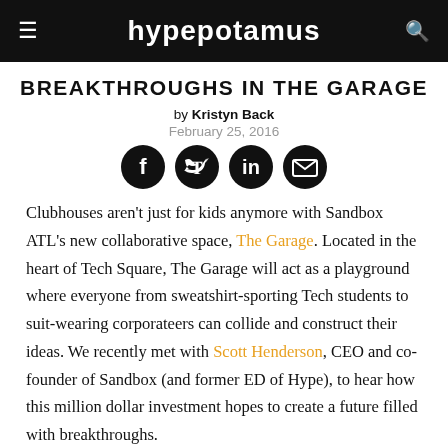hypepotamus
BREAKTHROUGHS IN THE GARAGE
by Kristyn Back
February 25, 2016
[Figure (other): Social sharing icons: Facebook, Twitter, LinkedIn, Email]
Clubhouses aren’t just for kids anymore with Sandbox ATL’s new collaborative space, The Garage. Located in the heart of Tech Square, The Garage will act as a playground where everyone from sweatshirt-sporting Tech students to suit-wearing corporateers can collide and construct their ideas. We recently met with Scott Henderson, CEO and co-founder of Sandbox (and former ED of Hype), to hear how this million dollar investment hopes to create a future filled with breakthroughs.